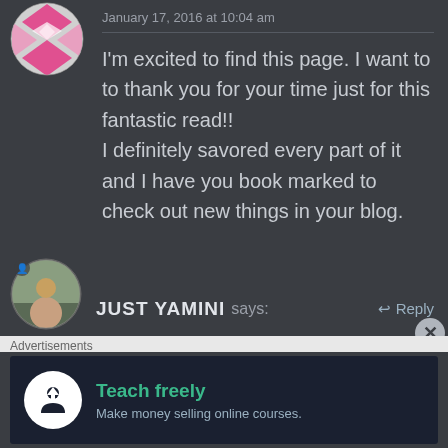[Figure (illustration): Pink geometric diamond-pattern avatar in a circle, top left]
January 17, 2016 at 10:04 am
I'm excited to find this page. I want to to thank you for your time just for this fantastic read!! I definitely savored every part of it and I have you book marked to check out new things in your blog.
★ Like
[Figure (photo): Circular avatar photo of a person outdoors]
JUST YAMINI says:
↩ Reply
Advertisements
[Figure (infographic): Advertisement: Teach freely - Make money selling online courses. Dark background with white circle icon and teal text.]